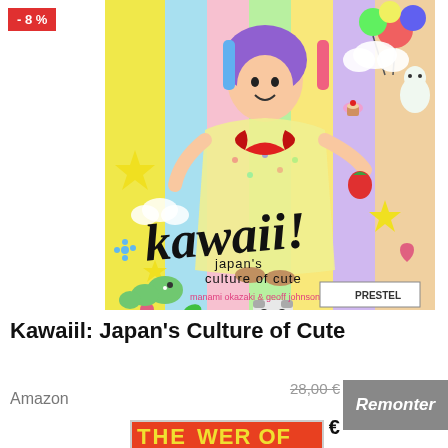[Figure (illustration): Discount badge showing -8% in red background white text, top left corner]
[Figure (photo): Book cover of 'kawaii! japan's culture of cute' by manami okazaki & geoff johnson, published by PRESTEL. Shows a woman in colorful Japanese kimono with rainbow-colored vertical stripes background, surrounded by cute cartoon characters, balloons, stars, hearts, clouds, strawberry, plants, and other kawaii doodles. The title 'kawaii!' is written in large playful black font.]
Kawaiil: Japan's Culture of Cute
Amazon
28,00 € 25,88 €
Remonter
[Figure (photo): Partial view of another book cover with orange/red background showing text 'THE' and 'WER OF' visible, appearing to be 'THE POWER OF...']